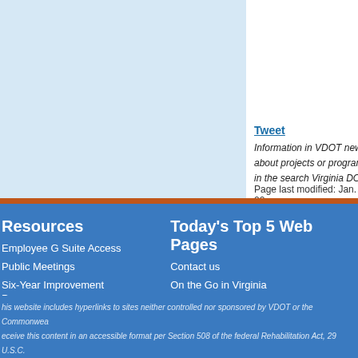[Figure (screenshot): VDOT website partial screenshot showing light blue content area with dark blue left sidebar]
Tweet
Information in VDOT news about projects or programs in the search Virginia DOT
Page last modified: Jan. 22,
Resources
Today's Top 5 Web Pages
Employee G Suite Access
Public Meetings
Six-Year Improvement Program
Organizational Chart
Freedom of Information
Contact us
On the Go in Virginia
Jamestown-Scotland Ferry
Current Opportunities
Business Center
his website includes hyperlinks to sites neither controlled nor sponsored by VDOT or the Commonwealth receive this content in an accessible format per Section 508 of the federal Rehabilitation Act, 29 U.S.C.